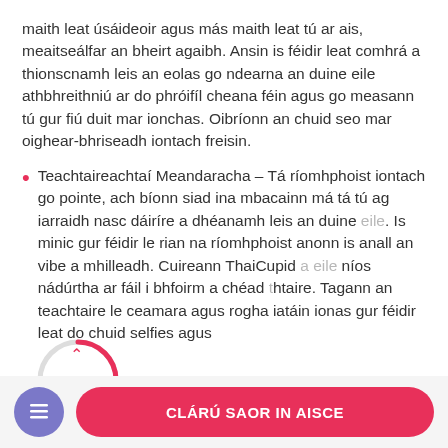maith leat úsáideoir agus más maith leat tú ar ais, meaitseálfar an bheirt agaibh. Ansin is féidir leat comhrá a thionscnamh leis an eolas go ndearna an duine eile athbhreithniú ar do phróifíl cheana féin agus go measann tú gur fiú duit mar ionchas. Oibríonn an chuid seo mar oighear-bhriseadh iontach freisin.
Teachtaireachtaí Meandaracha – Tá ríomhphoist iontach go pointe, ach bíonn siad ina mbacainn má tá tú ag iarraidh nasc dáiríre a dhéanamh leis an duine eile. Is minic gur féidir le rian na ríomhphoist anonn is anall an vibe a mhilleadh. Cuireann ThaiCupid a eile níos nádúrtha ar fáil i bhfoirm a chéad teachtaire. Tagann an teachtaire le ceamara agus rogha iatáin ionas gur féidir leat do chuid selfies agus
[Figure (other): Circular loading/progress indicator showing 43% with a pink arrow icon, partially overlapping the list item text]
[Figure (other): Bottom navigation bar with a purple circular icon button (document/list icon) and a pink rounded rectangle button labeled CLÁRÚ SAOR IN AISCE]